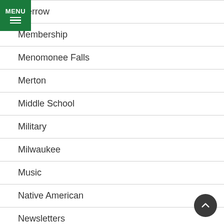[Figure (other): Green MENU button with hamburger icon in top-left corner]
…errow
Membership
Menomonee Falls
Merton
Middle School
Military
Milwaukee
Music
Native American
Newsletters
Organizations
Other Wisconsin